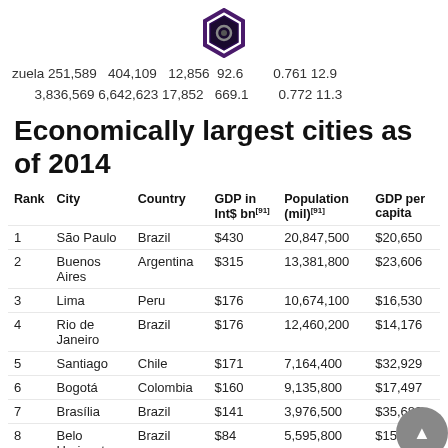[Figure (logo): Hexagonal dark icon/logo centered at top of page]
zuela 251,589   404,109   12,856  92.6         0.761 12.9
       3,836,569 6,642,623 17,852   669.1         0.772 11.3
Economically largest cities as of 2014
| Rank | City | Country | GDP in Int$ bn[91] | Population (mil)[91] | GDP per capita |
| --- | --- | --- | --- | --- | --- |
| 1 | São Paulo | Brazil | $430 | 20,847,500 | $20,650 |
| 2 | Buenos Aires | Argentina | $315 | 13,381,800 | $23,606 |
| 3 | Lima | Peru | $176 | 10,674,100 | $16,530 |
| 4 | Rio de Janeiro | Brazil | $176 | 12,460,200 | $14,176 |
| 5 | Santiago | Chile | $171 | 7,164,400 | $32,929 |
| 6 | Bogotá | Colombia | $160 | 9,135,800 | $17,497 |
| 7 | Brasília | Brazil | $141 | 3,976,500 | $35,689 |
| 8 | Belo Horizonte | Brazil | $84 | 5,595,800 | $15,134 |
|  | Porto |  |  |  |  |